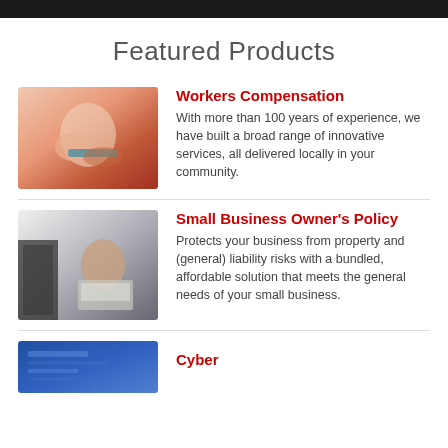Featured Products
[Figure (photo): Person doing physical therapy stretching exercise with resistance band]
Workers Compensation
With more than 100 years of experience, we have built a broad range of innovative services, all delivered locally in your community.
[Figure (photo): Woman working at laptop in clothing store/retail environment]
Small Business Owner's Policy
Protects your business from property and (general) liability risks with a bundled, affordable solution that meets the general needs of your small business.
[Figure (photo): Cyber security themed blue digital background]
Cyber